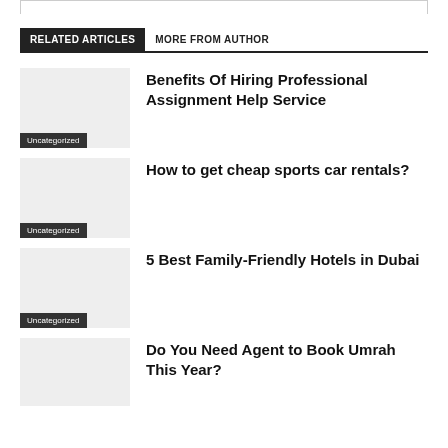RELATED ARTICLES
MORE FROM AUTHOR
Benefits Of Hiring Professional Assignment Help Service
Uncategorized
How to get cheap sports car rentals?
Uncategorized
5 Best Family-Friendly Hotels in Dubai
Uncategorized
Do You Need Agent to Book Umrah This Year?